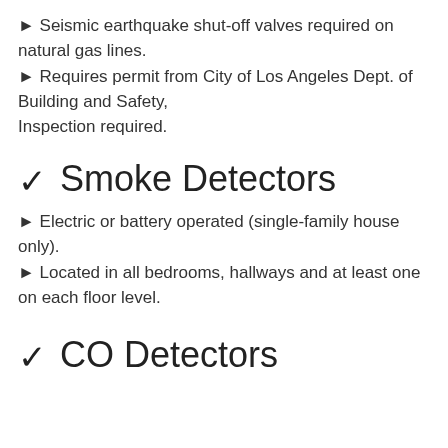► Seismic earthquake shut-off valves required on natural gas lines.
► Requires permit from City of Los Angeles Dept. of Building and Safety, Inspection required.
✓ Smoke Detectors
► Electric or battery operated (single-family house only).
► Located in all bedrooms, hallways and at least one on each floor level.
✓ CO Detectors